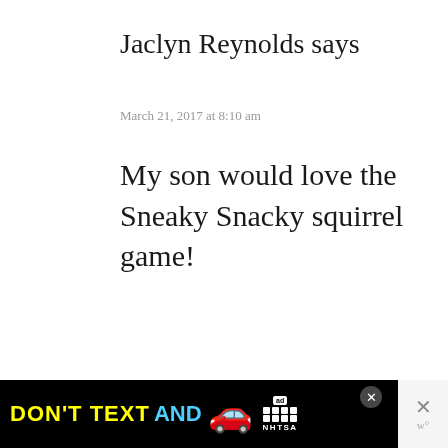Jaclyn Reynolds says
March 21, 2017 at 8:10 am
My son would love the Sneaky Snacky squirrel game!
Amanda Alvarado says
March 20, 2017 at 8:25 pm
[Figure (screenshot): DON'T TEXT AND DRIVE advertisement banner from NHTSA with a red car emoji and ad badge]